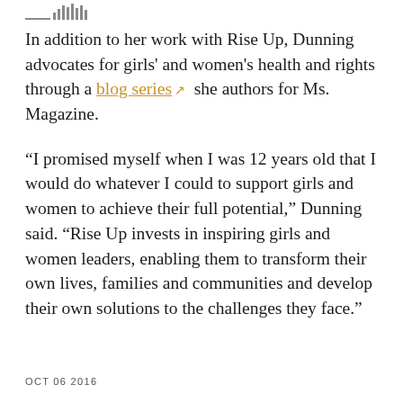In addition to her work with Rise Up, Dunning advocates for girls' and women's health and rights through a blog series she authors for Ms. Magazine.
“I promised myself when I was 12 years old that I would do whatever I could to support girls and women to achieve their full potential,” Dunning said. “Rise Up invests in inspiring girls and women leaders, enabling them to transform their own lives, families and communities and develop their own solutions to the challenges they face.”
OCT 06 2016